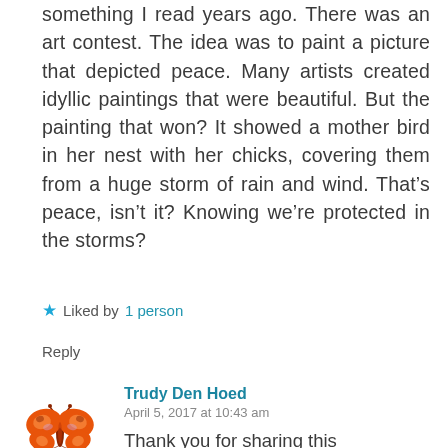something I read years ago. There was an art contest. The idea was to paint a picture that depicted peace. Many artists created idyllic paintings that were beautiful. But the painting that won? It showed a mother bird in her nest with her chicks, covering them from a huge storm of rain and wind. That's peace, isn't it? Knowing we're protected in the storms?
★ Liked by 1 person
Reply
[Figure (illustration): Orange butterfly emoji/illustration used as commenter avatar]
Trudy Den Hoed
April 5, 2017 at 10:43 am
Thank you for sharing this